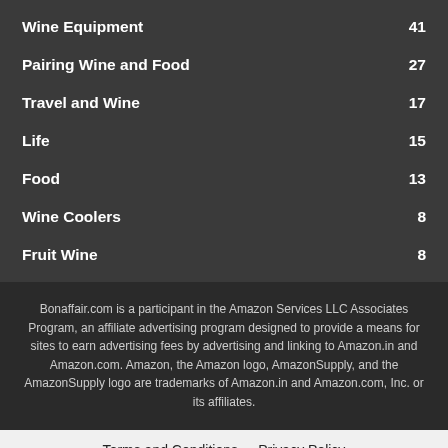Wine Equipment 41
Pairing Wine and Food 27
Travel and Wine 17
Life 15
Food 13
Wine Coolers 8
Fruit Wine 8
Bonaffair.com is a participant in the Amazon Services LLC Associates Program, an affiliate advertising program designed to provide a means for sites to earn advertising fees by advertising and linking to Amazon.in and Amazon.com. Amazon, the Amazon logo, AmazonSupply, and the AmazonSupply logo are trademarks of Amazon.in and Amazon.com, Inc. or its affiliates.
Terms and Conditions - Privacy Policy